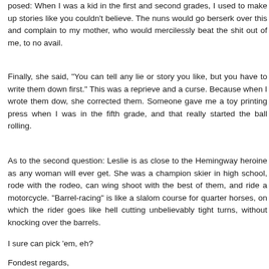posed: When I was a kid in the first and second grades, I used to make up stories like you couldn't believe. The nuns would go berserk over this and complain to my mother, who would mercilessly beat the shit out of me, to no avail.
Finally, she said, "You can tell any lie or story you like, but you have to write them down first." This was a reprieve and a curse. Because when I wrote them dow, she corrected them. Someone gave me a toy printing press when I was in the fifth grade, and that really started the ball rolling.
As to the second question: Leslie is as close to the Hemingway heroine as any woman will ever get. She was a champion skier in high school, rode with the rodeo, can wing shoot with the best of them, and ride a motorcycle. "Barrel-racing" is like a slalom course for quarter horses, on which the rider goes like hell cutting unbelievably tight turns, without knocking over the barrels.
I sure can pick 'em, eh?
Fondest regards,
Jackson Tate